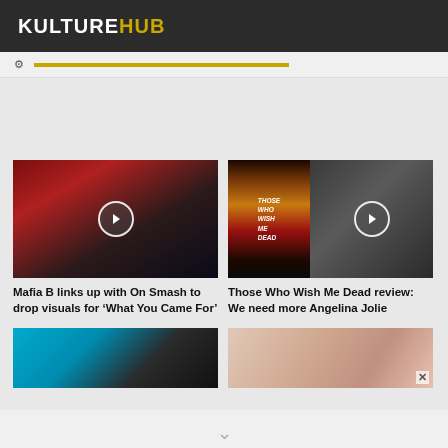KULTUREHUB
[Figure (screenshot): Thumbnail of a person in dark clothing with red/dark background, with a white play button overlay]
Mafia B links up with On Smash to drop visuals for 'What You Came For'
[Figure (screenshot): Split thumbnail showing Those Who Wish Me Dead movie poster on left and a smiling person on right, with play button overlay]
Those Who Wish Me Dead review: We need more Angelina Jolie
[Figure (screenshot): Partial thumbnail of a person with teal/cyan background]
[Figure (screenshot): Partial thumbnail showing people with light/rose background]